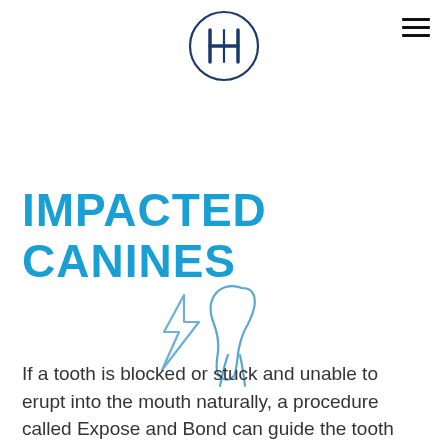[Figure (logo): Circular logo with letters IH or HI monogram in dark blue, inside a circle outline]
[Figure (illustration): Line drawing illustration of an impacted tooth (canine) with a lightning bolt or arrow shape, drawn in light blue outline style]
IMPACTED CANINES
If a tooth is blocked or stuck and unable to erupt into the mouth naturally, a procedure called Expose and Bond can guide the tooth into position in the dental